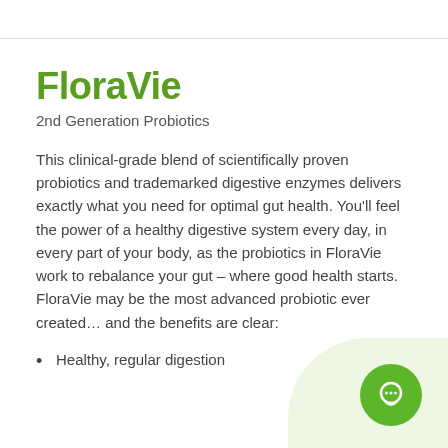FloraVie
2nd Generation Probiotics
This clinical-grade blend of scientifically proven probiotics and trademarked digestive enzymes delivers exactly what you need for optimal gut health. You'll feel the power of a healthy digestive system every day, in every part of your body, as the probiotics in FloraVie work to rebalance your gut – where good health starts. FloraVie may be the most advanced probiotic ever created… and the benefits are clear:
Healthy, regular digestion